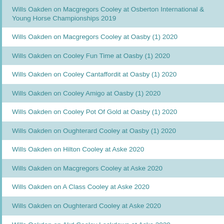Wills Oakden on Macgregors Cooley at Osberton International & Young Horse Championships 2019
Wills Oakden on Macgregors Cooley at Oasby (1) 2020
Wills Oakden on Cooley Fun Time at Oasby (1) 2020
Wills Oakden on Cooley Cantaffordit at Oasby (1) 2020
Wills Oakden on Cooley Amigo at Oasby (1) 2020
Wills Oakden on Cooley Pot Of Gold at Oasby (1) 2020
Wills Oakden on Oughterard Cooley at Oasby (1) 2020
Wills Oakden on Hilton Cooley at Aske 2020
Wills Oakden on Macgregors Cooley at Aske 2020
Wills Oakden on A Class Cooley at Aske 2020
Wills Oakden on Oughterard Cooley at Aske 2020
Wills Oakden on Akd Cooley Lockdown at Aske 2020
Wills Oakden on Cooley Pot Of Gold at Warwick Hall (3) 2020
Wills Oakden on Cooley Cando at Warwick Hall (3) 2020
Wills Oakden on Keep It Cooley at Warwick Hall (3) 2020
Wills Oakden on Cooley Fun Time at Warwick Hall (3) 2020
Wills Oakden on Cooley Amigo at Warwick Hall (3) 2020